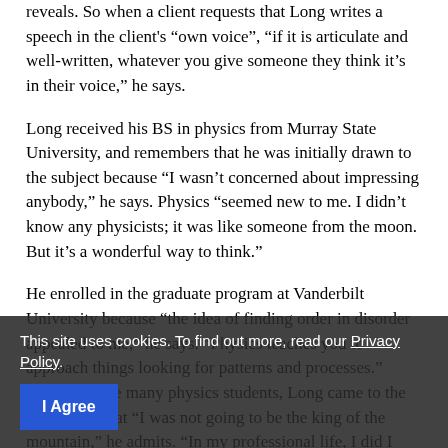reveals. So when a client requests that Long writes a speech in the client's “own voice”, “if it is articulate and well-written, whatever you give someone they think it’s in their voice,” he says.
Long received his BS in physics from Murray State University, and remembers that he was initially drawn to the subject because “I wasn’t concerned about impressing anybody,” he says. Physics “seemed new to me. I didn’t know any physicists; it was like someone from the moon. But it’s a wonderful way to think.”
He enrolled in the graduate program at Vanderbilt University because “the idea of finding order in disorder appealed to me,” he says. “Physics teaches you to approach things looking for patterns and processes.” However, like many physics students, Long came to the realization that “I was not going to be the king of the mountain,” he admits. “In my professional life, I did I wanted to be the very best at it, and when I got into grad school, physics did not come as naturally to me as
This site uses cookies. To find out more, read our Privacy Policy.